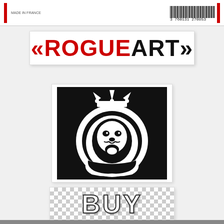MADE IN FRANCE  3 760131 270853
[Figure (logo): ROGUEART logo with red guillemets and black bold text on white background with shadow border]
[Figure (logo): Black square lion head logo with crown and circular ring, Rogue Art brand emblem]
[Figure (logo): BUY text in white bold letters over checkered transparency background]